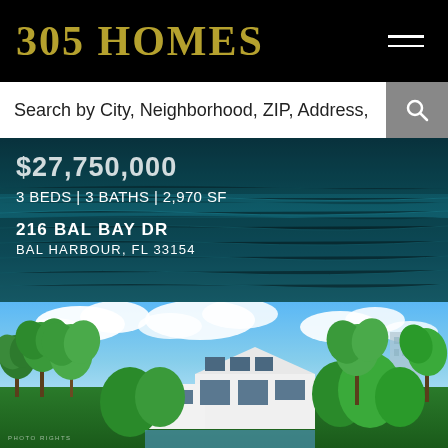305 HOMES
Search by City, Neighborhood, ZIP, Address,
$27,750,000
3 BEDS | 3 BATHS | 2,970 SF
216 BAL BAY DR
BAL HARBOUR, FL 33154
[Figure (photo): Aerial/waterfront view of a modern white luxury home surrounded by tropical palm trees and lush greenery in Bal Harbour, Florida, with blue sky and clouds overhead]